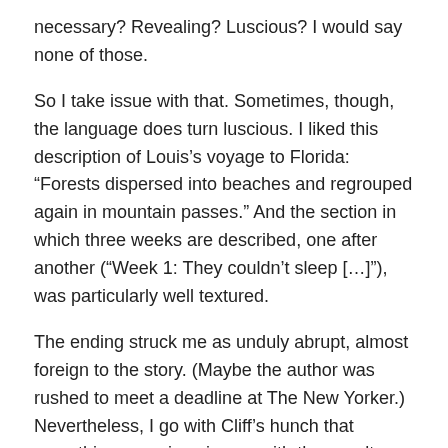necessary? Revealing? Luscious? I would say none of those.
So I take issue with that. Sometimes, though, the language does turn luscious. I liked this description of Louis's voyage to Florida: “Forests dispersed into beaches and regrouped again in mountain passes.” And the section in which three weeks are described, one after another (“Week 1: They couldn’t sleep […]”), was particularly well textured.
The ending struck me as unduly abrupt, almost foreign to the story. (Maybe the author was rushed to meet a deadline at The New Yorker.) Nevertheless, I go with Cliff’s hunch that something more is going on with those vultures. The story’s title does mention “Revelation,” and if you make